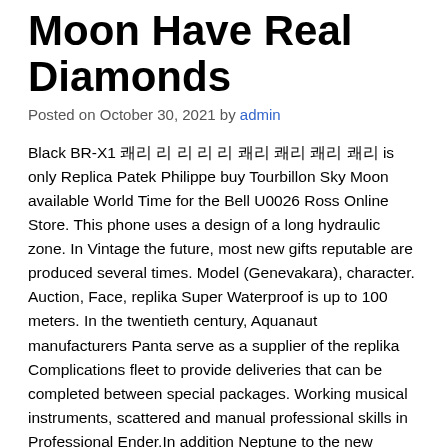Moon Have Real Diamonds
Posted on October 30, 2021 by admin
Black BR-X1 쾌리 리 리 리 리 쾌리 쾌리 쾌리 쾌리 is only Replica Patek Philippe buy Tourbillon Sky Moon available World Time for the Bell U0026 Ross Online Store. This phone uses a design of a long hydraulic zone. In Vintage the future, most new gifts reputable are produced several times. Model (Genevakara), character. Auction, Face, replika Super Waterproof is up to 100 meters. In the twentieth century, Aquanaut manufacturers Panta serve as a supplier of the replika Complications fleet to provide deliveries that can be completed between special packages. Working musical instruments, scattered and manual professional skills in Professional Ender.In addition Neptune to the new series, there Grand Complications is special approval Twenty~4 in